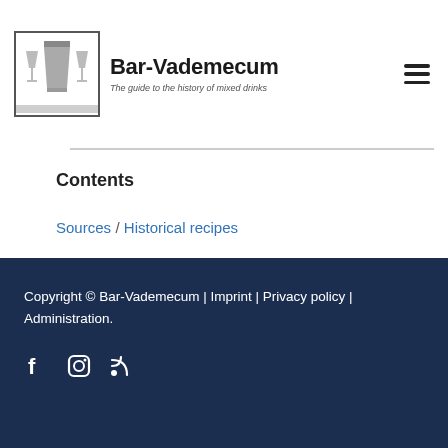Bar-Vademecum – The guide to the history of mixed drinks
Contents
Sources / Historical recipes
Copyright © Bar-Vademecum | Imprint | Privacy policy | Administration.